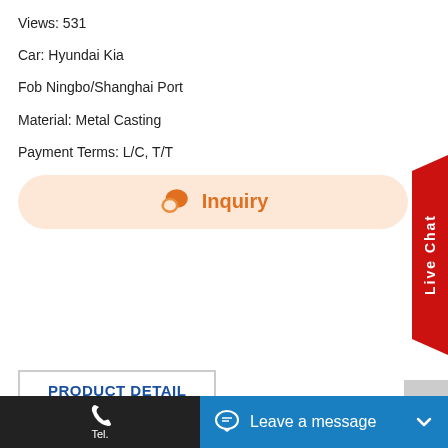Views: 531
Car: Hyundai Kia
Fob Ningbo/Shanghai Port
Material: Metal Casting
Payment Terms: L/C, T/T
[Figure (infographic): Orange 'Inquiry' button with chat icon on peach/salmon background, rounded pill shape]
[Figure (infographic): Red diagonal 'Live Chat' ribbon on right side of page]
PRODUCT DETAIL
Product Description:
Tel.  E-  Leave a message